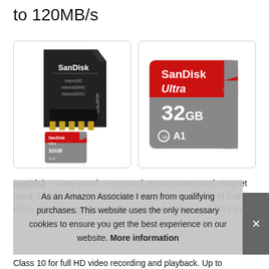to 120MB/s
[Figure (photo): SanDisk microSD card with SD adapter (left box): black SD adapter labeled SanDisk, microSD, microSDHC, microSDXC, ADAPTER, with a small SanDisk Ultra 32GB microSD card in front. Right box: close-up of SanDisk Ultra 32GB microSD card with red top half, grey bottom, showing 32GB, micro HC U1 I, Class 10, A1.]
SanDisk - Water-proof, x-ray proof, temperature proof, magnet proof, shock proof. Up to 1tb to store even more hours of Full HD video. Ideal for android smartphones and tablets, and MII cam
As an Amazon Associate I earn from qualifying purchases. This website uses the only necessary cookies to ensure you get the best experience on our website. More information
Class 10 for full HD video recording and playback. Up to